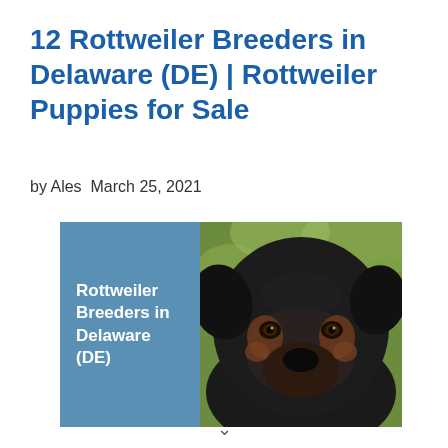12 Rottweiler Breeders in Delaware (DE) | Rottweiler Puppies for Sale
by Ales March 25, 2021
[Figure (photo): Composite image with a teal/blue left panel reading 'Rottweiler Breeders in Delaware (DE)' in white bold text, and a right-side photo of a close-up of a Rottweiler puppy's face against a blurred green background.]